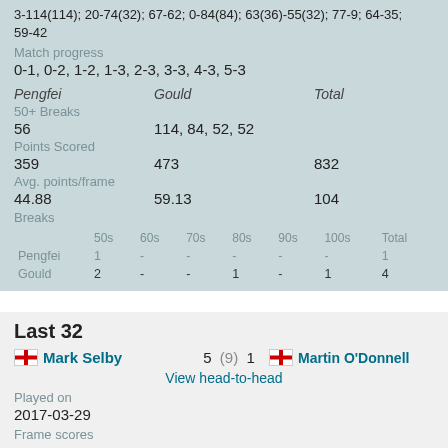3-114(114); 20-74(32); 67-62; 0-84(84); 63(36)-55(32); 77-9; 64-35; 59-42
Match progress
0-1, 0-2, 1-2, 1-3, 2-3, 3-3, 4-3, 5-3
| Pengfei | Gould | Total |
| --- | --- | --- |
| 50+ Breaks |  |  |
| 56 | 114, 84, 52, 52 |  |
| Points Scored |  |  |
| 359 | 473 | 832 |
| Avg. points/frame |  |  |
| 44.88 | 59.13 | 104 |
| Breaks |  |  |
|  | 50s | 60s | 70s | 80s | 90s | 100s | Total |
| --- | --- | --- | --- | --- | --- | --- | --- |
| Pengfei | 1 | - | - | - | - | - | 1 |
| Gould | 2 | - | - | 1 | - | 1 | 4 |
Last 32
Mark Selby 5 (9) 1 Martin O'Donnell
View head-to-head
Played on
2017-03-29
Frame scores